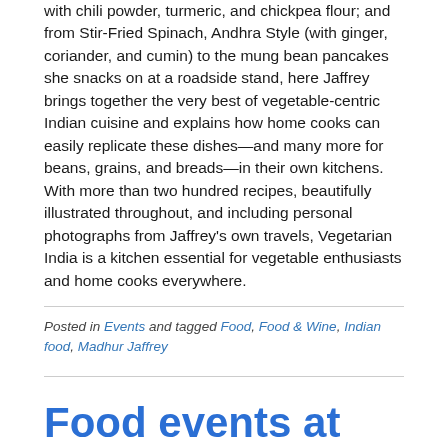with chili powder, turmeric, and chickpea flour; and from Stir-Fried Spinach, Andhra Style (with ginger, coriander, and cumin) to the mung bean pancakes she snacks on at a roadside stand, here Jaffrey brings together the very best of vegetable-centric Indian cuisine and explains how home cooks can easily replicate these dishes—and many more for beans, grains, and breads—in their own kitchens.
With more than two hundred recipes, beautifully illustrated throughout, and including personal photographs from Jaffrey's own travels, Vegetarian India is a kitchen essential for vegetable enthusiasts and home cooks everywhere.
Posted in Events and tagged Food, Food & Wine, Indian food, Madhur Jaffrey
Food events at Live Talks LA: Mark Bittman...